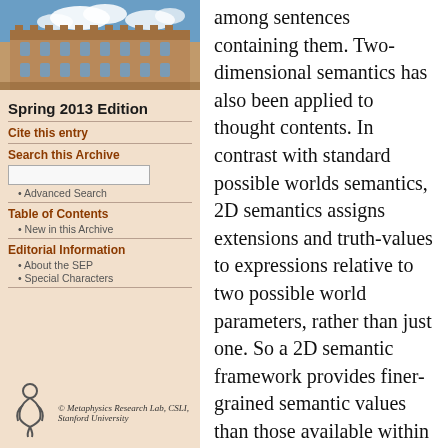[Figure (photo): Photograph of a historic university building (quadrangle) with sandstone architecture under a blue sky with clouds]
Spring 2013 Edition
Cite this entry
Search this Archive
Advanced Search
Table of Contents
New in this Archive
Editorial Information
About the SEP
Special Characters
[Figure (logo): Metaphysics Research Lab logo — stylized figure]
© Metaphysics Research Lab, CSLI, Stanford University
among sentences containing them. Two-dimensional semantics has also been applied to thought contents. In contrast with standard possible worlds semantics, 2D semantics assigns extensions and truth-values to expressions relative to two possible world parameters, rather than just one. So a 2D semantic framework provides finer-grained semantic values than those available within standard possible world semantics, while using the same basic model-theoretic resources. The 2D framework itself is just a formal tool. To develop a semantic theory for someone's language, a proponent of 2D